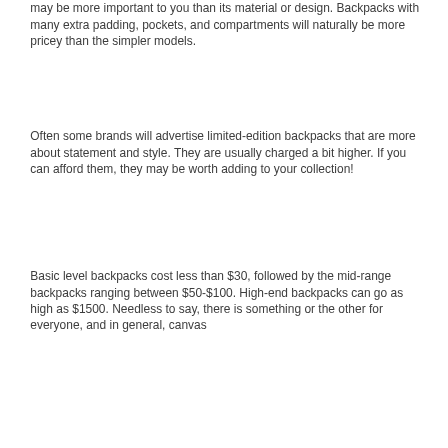may be more important to you than its material or design. Backpacks with many extra padding, pockets, and compartments will naturally be more pricey than the simpler models.
Often some brands will advertise limited-edition backpacks that are more about statement and style. They are usually charged a bit higher. If you can afford them, they may be worth adding to your collection!
Basic level backpacks cost less than $30, followed by the mid-range backpacks ranging between $50-$100. High-end backpacks can go as high as $1500. Needless to say, there is something or the other for everyone, and in general, canvas